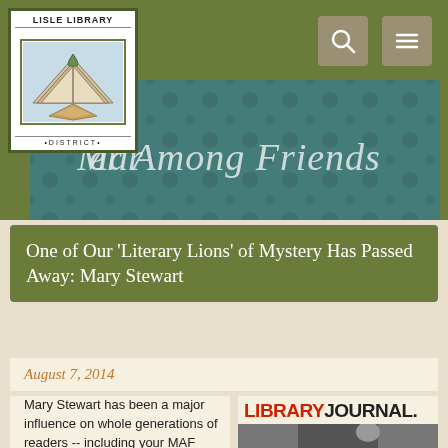[Figure (logo): Lisle Library District logo with stylized open book and geometric design]
[Figure (screenshot): Search icon (magnifying glass) and hamburger menu icon on olive background]
[Figure (photo): Murder Among Friends banner with decorative dark floral wallpaper background and white script text]
One of Our 'Literary Lions' of Mystery Has Passed Away: Mary Stewart
August 7, 2014
Mary Stewart has been a major influence on whole generations of readers -- including your MAF
[Figure (logo): Library Journal logo in red and black]
[Figure (photo): Black and white photo of Mary Stewart]